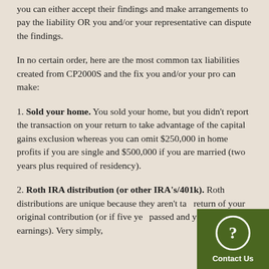you can either accept their findings and make arrangements to pay the liability OR you and/or your representative can dispute the findings.
In no certain order, here are the most common tax liabilities created from CP2000S and the fix you and/or your pro can make:
1. Sold your home. You sold your home, but you didn't report the transaction on your return to take advantage of the capital gains exclusion whereas you can omit $250,000 in home profits if you are single and $500,000 if you are married (two years plus required of residency).
2. Roth IRA distribution (or other IRA's/401k). Roth distributions are unique because they aren't ta... return of your original contribution (or if five ye... passed and you take out earnings). Very simply,...
[Figure (other): Contact Us widget with question mark icon on dark green background]